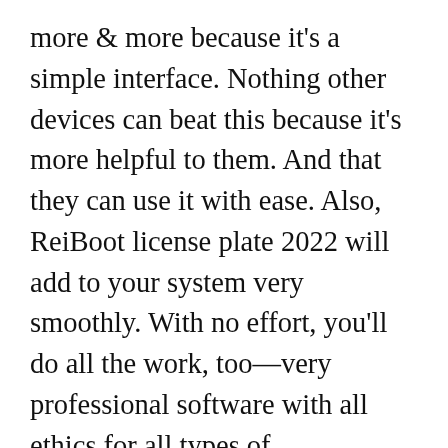more & more because it's a simple interface. Nothing other devices can beat this because it's more helpful to them. And that they can use it with ease. Also, ReiBoot license plate 2022 will add to your system very smoothly. With no effort, you'll do all the work, too—very professional software with all ethics for all types of inauspicious data recovery. So, Tenorshare ReiBoot Torrent + Serial can fulfill all your needs. That's not fulfilling with the other tool. Because this tool can do an honest job, and you'll get good results from it. ReiBoot 8 Crack won't occur any issue. You'll download it easily from the link below.
Free Download ReiBoot Pro 9.1.12 Torrent